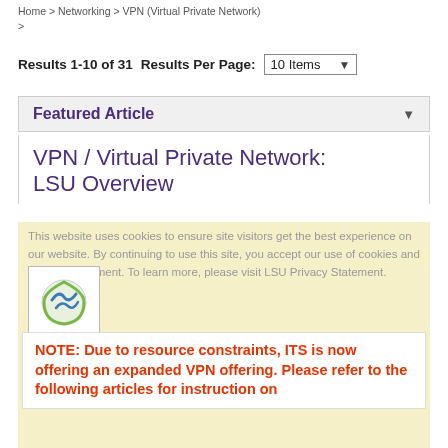Home > Networking > VPN (Virtual Private Network) >
Results 1-10 of 31   Results Per Page:  10 Items
Featured Article
VPN / Virtual Private Network: LSU Overview
This website uses cookies to ensure site visitors get the best experience on our website. By continuing to use this site, you accept our use of cookies and Privacy Statement. To learn more, please visit LSU Privacy Statement.
NOTE: Due to resource constraints, ITS is now offering an expanded VPN offering. Please refer to the following articles for instruction on